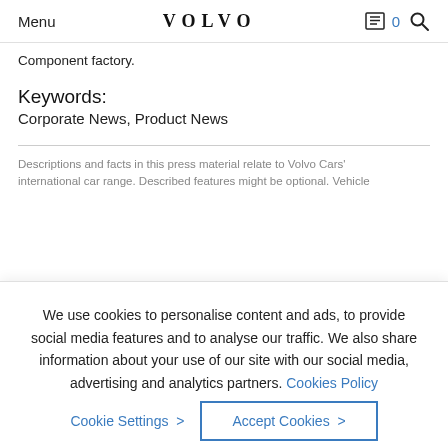Menu | VOLVO | 0
Component factory.
Keywords:
Corporate News, Product News
Descriptions and facts in this press material relate to Volvo Cars' international car range. Described features might be optional. Vehicle
We use cookies to personalise content and ads, to provide social media features and to analyse our traffic. We also share information about your use of our site with our social media, advertising and analytics partners. Cookies Policy
Cookie Settings > | Accept Cookies >